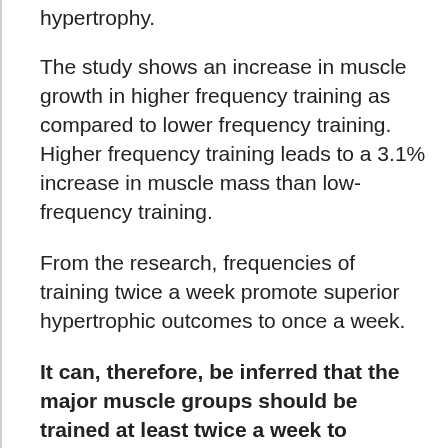hypertrophy.
The study shows an increase in muscle growth in higher frequency training as compared to lower frequency training. Higher frequency training leads to a 3.1% increase in muscle mass than low-frequency training.
From the research, frequencies of training twice a week promote superior hypertrophic outcomes to once a week.
It can, therefore, be inferred that the major muscle groups should be trained at least twice a week to maximize muscle growth. Whether